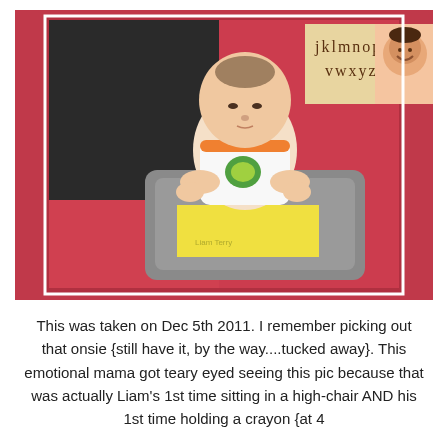[Figure (photo): A baby sitting in a gray high-chair at what appears to be a school or daycare, looking down at a yellow paper on the tray. In the background is a pink/red wall with an alphabet poster showing letters j k l m n o p q v w x y z, and a partial view of another child smiling at the upper right.]
This was taken on Dec 5th 2011. I remember picking out that onsie {still have it, by the way....tucked away}. This emotional mama got teary eyed seeing this pic because that was actually Liam's 1st time sitting in a high-chair AND his 1st time holding a crayon {at 4